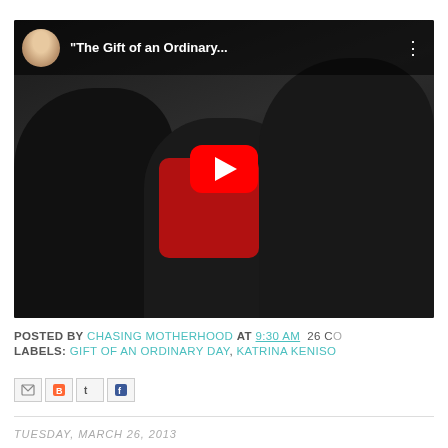[Figure (screenshot): YouTube video thumbnail showing three people in winter clothes in snowy conditions. The video title reads 'The Gift of an Ordinary...' with a channel avatar in the top-left corner. A red YouTube play button is centered on the image.]
POSTED BY CHASING MOTHERHOOD AT 9:30 AM  26 CO
LABELS: GIFT OF AN ORDINARY DAY, KATRINA KENISO
[Figure (other): Social sharing icon buttons: email (M), Blogger (B), Twitter (t), Facebook (f)]
TUESDAY, MARCH 26, 2013